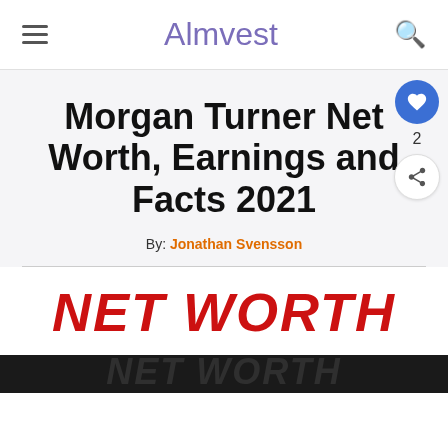Almvest
Morgan Turner Net Worth, Earnings and Facts 2021
By: Jonathan Svensson
[Figure (photo): Hand writing 'NET WORTH' in large red letters on a dark background, partially visible at the bottom of the page.]